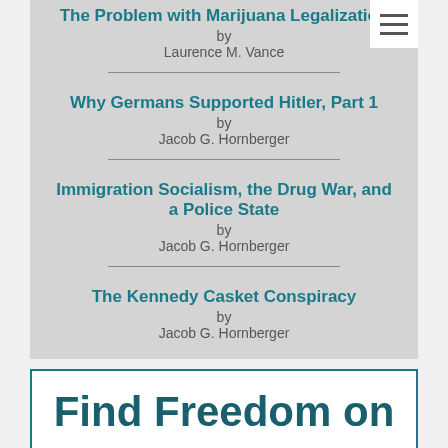The Problem with Marijuana Legalization
by
Laurence M. Vance
Why Germans Supported Hitler, Part 1
by
Jacob G. Hornberger
Immigration Socialism, the Drug War, and a Police State
by
Jacob G. Hornberger
The Kennedy Casket Conspiracy
by
Jacob G. Hornberger
Find Freedom on